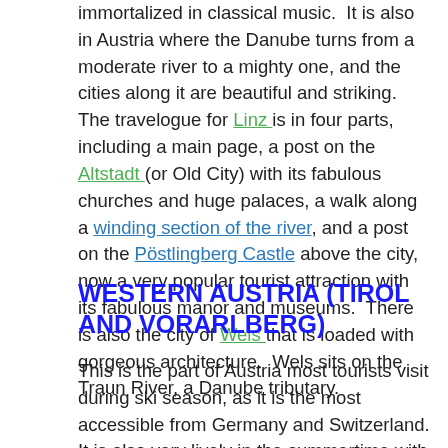immortalized in classical music.  It is also in Austria where the Danube turns from a moderate river to a mighty one, and the cities along it are beautiful and striking. The travelogue for Linz is in four parts, including a main page, a post on the Altstadt (or Old City) with its fabulous churches and huge palaces, a walk along a winding section of the river, and a post on the Pöstlingberg Castle above the city, now a very popular tourist attraction with its fabulous manor and museums.  There is also the city of Wels that is loaded with gorgeous architecture.  Wels sits on the Traun River, a Danube tributary.
WESTERN AUSTRIA (TIROL AND VORARLBERG)
This is the part of Austria most tourists visit during ski season, as it is the most accessible from Germany and Switzerland. It is also very lively in the summertime with its proximity to Lake Constance. The best known of the western Austrian cities is Innsbruck, home to two Olympiads and a true all-weather